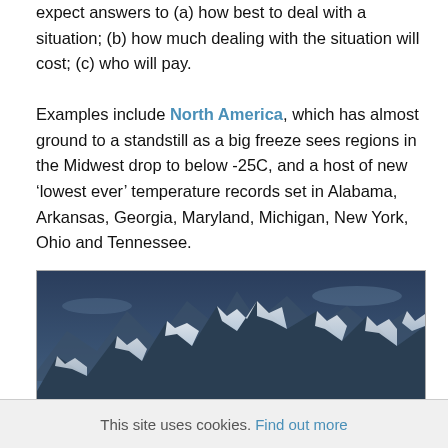expect answers to (a) how best to deal with a situation; (b) how much dealing with the situation will cost; (c) who will pay.

Examples include North America, which has almost ground to a standstill as a big freeze sees regions in the Midwest drop to below -25C, and a host of new ‘lowest ever’ temperature records set in Alabama, Arkansas, Georgia, Maryland, Michigan, New York, Ohio and Tennessee.
[Figure (photo): Snow-covered mountain peaks rising above a sea of clouds, in blue-toned monochrome photography.]
This site uses cookies. Find out more